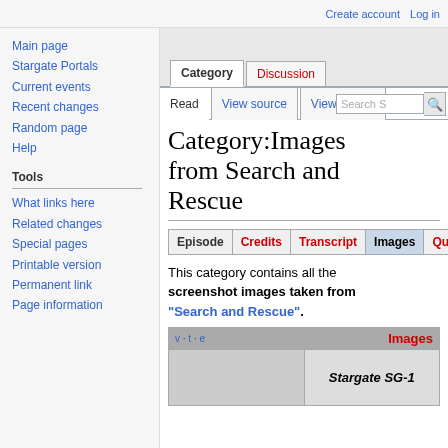Create account  Log in
Category  Discussion
Read  View source  View history  Search S
Category:Images from Search and Rescue
| Episode | Credits | Transcript | Images | Quotes |
| --- | --- | --- | --- | --- |
This category contains all the screenshot images taken from "Search and Rescue".
| v · t · e | Images |
| --- | --- |
| [thumbnail] | Stargate SG-1 |
Main page
Stargate Portals
Current events
Recent changes
Random page
Help
Tools
What links here
Related changes
Special pages
Printable version
Permanent link
Page information